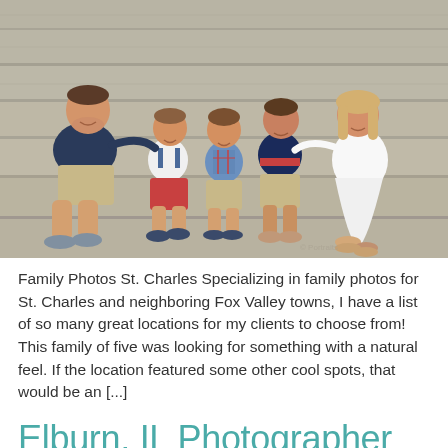[Figure (photo): A family of five (father, mother, and three sons) sitting on stone steps outdoors. The father sits on the left wearing a dark navy shirt and khaki shorts. Three boys sit in the middle. The mother sits on the right wearing a white dress. They are all smiling.]
Family Photos St. Charles Specializing in family photos for St. Charles and neighboring Fox Valley towns, I have a list of so many great locations for my clients to choose from! This family of five was looking for something with a natural feel. If the location featured some other cool spots, that would be an [...]
Elburn, IL Photographer (Senior Portraits)